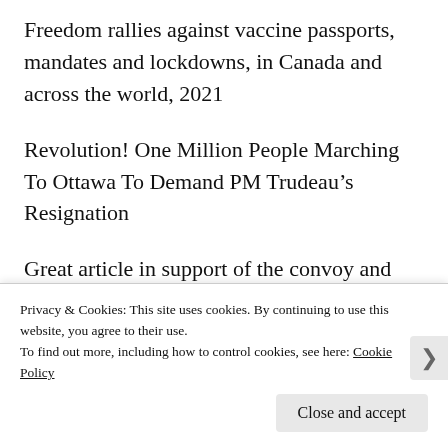Freedom rallies against vaccine passports, mandates and lockdowns, in Canada and across the world, 2021
Revolution! One Million People Marching To Ottawa To Demand PM Trudeau's Resignation
Great article in support of the convoy and why medical tyranny is not only wrong but untenable – for everyone, including the ruling elite
More convoy photos & videos
Denmark to lift restrictions; Quebec restricts grocery...
Privacy & Cookies: This site uses cookies. By continuing to use this website, you agree to their use.
To find out more, including how to control cookies, see here: Cookie Policy
Close and accept